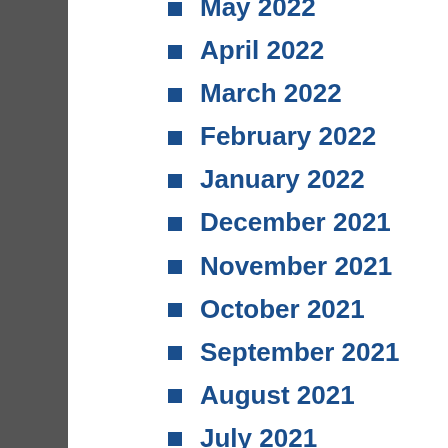May 2022
April 2022
March 2022
February 2022
January 2022
December 2021
November 2021
October 2021
September 2021
August 2021
July 2021
June 2021
May 2021
April 2021
March 2021
February 2021
December 2020
November 2020
October 2020
September 2020
August 2020
July 2020